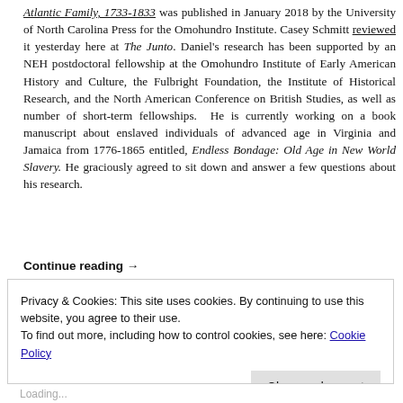Atlantic Family, 1733-1833 was published in January 2018 by the University of North Carolina Press for the Omohundro Institute. Casey Schmitt reviewed it yesterday here at The Junto. Daniel's research has been supported by an NEH postdoctoral fellowship at the Omohundro Institute of Early American History and Culture, the Fulbright Foundation, the Institute of Historical Research, and the North American Conference on British Studies, as well as number of short-term fellowships. He is currently working on a book manuscript about enslaved individuals of advanced age in Virginia and Jamaica from 1776-1865 entitled, Endless Bondage: Old Age in New World Slavery. He graciously agreed to sit down and answer a few questions about his research.
Continue reading →
Privacy & Cookies: This site uses cookies. By continuing to use this website, you agree to their use. To find out more, including how to control cookies, see here: Cookie Policy
Close and accept
Loading...